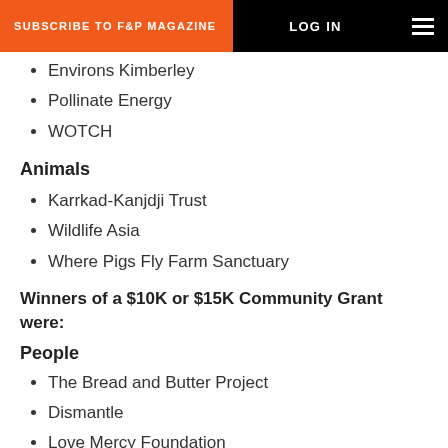SUBSCRIBE TO F&P MAGAZINE | LOG IN
Environs Kimberley
Pollinate Energy
WOTCH
Animals
Karrkad-Kanjdji Trust
Wildlife Asia
Where Pigs Fly Farm Sanctuary
Winners of a $10K or $15K Community Grant were:
People
The Bread and Butter Project
Dismantle
Love Mercy Foundation
Refugee Advice and Casework Service